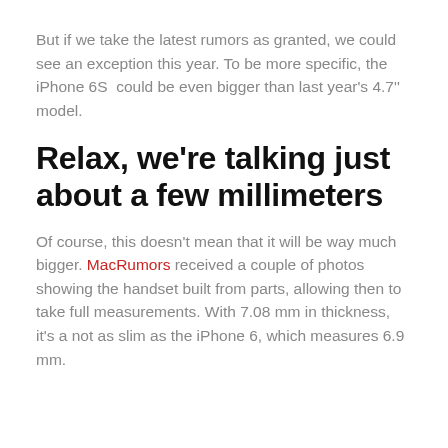But if we take the latest rumors as granted, we could see an exception this year. To be more specific, the iPhone 6S  could be even bigger than last year's 4.7'' model.
Relax, we're talking just about a few millimeters
Of course, this doesn't mean that it will be way much bigger. MacRumors received a couple of photos showing the handset built from parts, allowing then to take full measurements. With 7.08 mm in thickness, it's a not as slim as the iPhone 6, which measures 6.9 mm.